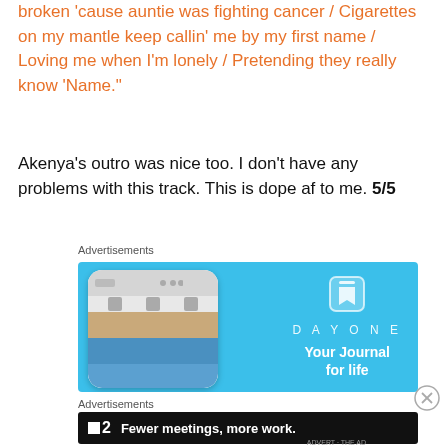broken 'cause auntie was fighting cancer / Cigarettes on my mantle keep callin' me by my first name / Loving me when I'm lonely / Pretending they really know 'Name."
Akenya's outro was nice too. I don't have any problems with this track. This is dope af to me. 5/5
Advertisements
[Figure (photo): DayOne journal app advertisement showing a smartphone with the app interface and the text 'DAYONE - Your Journal for life' on a light blue background]
Advertisements
[Figure (photo): Friday app advertisement with dark background showing logo and text 'Fewer meetings, more work.']